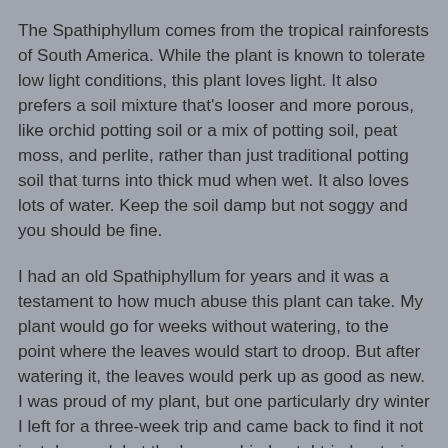The Spathiphyllum comes from the tropical rainforests of South America. While the plant is known to tolerate low light conditions, this plant loves light. It also prefers a soil mixture that's looser and more porous, like orchid potting soil or a mix of potting soil, peat moss, and perlite, rather than just traditional potting soil that turns into thick mud when wet. It also loves lots of water. Keep the soil damp but not soggy and you should be fine.
I had an old Spathiphyllum for years and it was a testament to how much abuse this plant can take. My plant would go for weeks without watering, to the point where the leaves would start to droop. But after watering it, the leaves would perk up as good as new. I was proud of my plant, but one particularly dry winter I left for a three-week trip and came back to find it not just drooped, but the leaves dried out. I tried watering it, and bless its heart it tried to come back to life, but ultimately it no longer produced flowers nor spathes. Ultimately I had to throw it out, although I did save two cutting from it before I did.